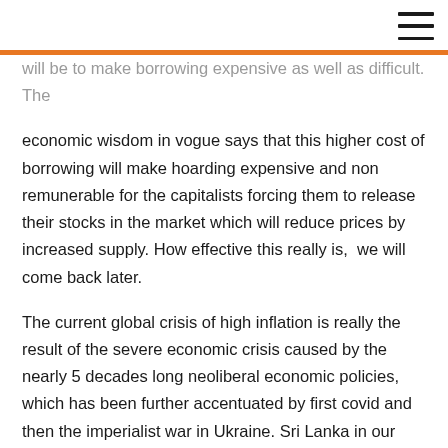☰
will be to make borrowing expensive as well as difficult. The economic wisdom in vogue says that this higher cost of borrowing will make hoarding expensive and non remunerable for the capitalists forcing them to release their stocks in the market which will reduce prices by increased supply. How effective this really is,  we will come back later.
The current global crisis of high inflation is really the result of the severe economic crisis caused by the nearly 5 decades long neoliberal economic policies, which has been further accentuated by first covid and then the imperialist war in Ukraine. Sri Lanka in our neighbourhood is going through a severe economic disruption and immense hardship for the common people right now, where the official rate of inflation has reached 19% but the unofficial calculations have found it going